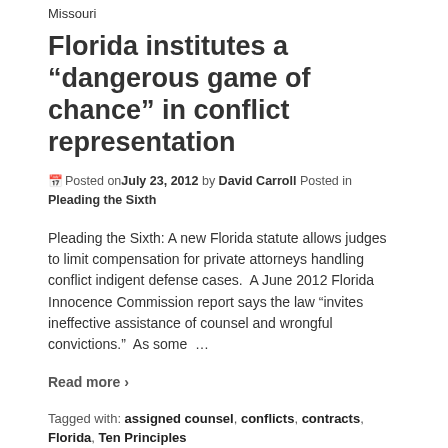Missouri
Florida institutes a “dangerous game of chance” in conflict representation
Posted on July 23, 2012 by David Carroll Posted in Pleading the Sixth
Pleading the Sixth: A new Florida statute allows judges to limit compensation for private attorneys handling conflict indigent defense cases.  A June 2012 Florida Innocence Commission report says the law “invites ineffective assistance of counsel and wrongful convictions.”  As some …
Read more ›
Tagged with: assigned counsel, conflicts, contracts, Florida, Ten Principles